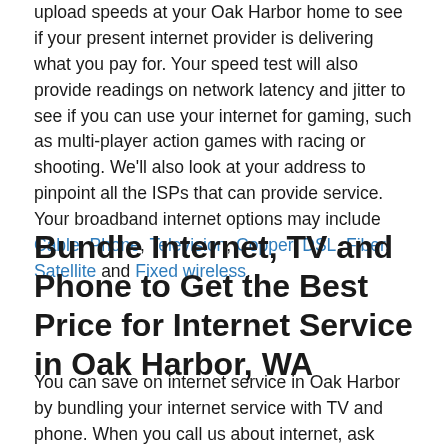upload speeds at your Oak Harbor home to see if your present internet provider is delivering what you pay for. Your speed test will also provide readings on network latency and jitter to see if you can use your internet for gaming, such as multi-player action games with racing or shooting. We'll also look at your address to pinpoint all the ISPs that can provide service. Your broadband internet options may include Cable, Phone, Television, Copper, DSL, Fiber, Satellite and Fixed wireless.
Bundle Internet, TV and Phone to Get the Best Price for Internet Service in Oak Harbor, WA
You can save on internet service in Oak Harbor by bundling your internet service with TV and phone. When you call us about internet, ask about your options for cable TV and satellite TV. While we're